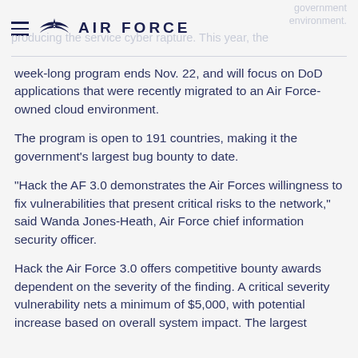AIR FORCE
week-long program ends Nov. 22, and will focus on DoD applications that were recently migrated to an Air Force-owned cloud environment.
The program is open to 191 countries, making it the government's largest bug bounty to date.
"Hack the AF 3.0 demonstrates the Air Forces willingness to fix vulnerabilities that present critical risks to the network," said Wanda Jones-Heath, Air Force chief information security officer.
Hack the Air Force 3.0 offers competitive bounty awards dependent on the severity of the finding. A critical severity vulnerability nets a minimum of $5,000, with potential increase based on overall system impact. The largest